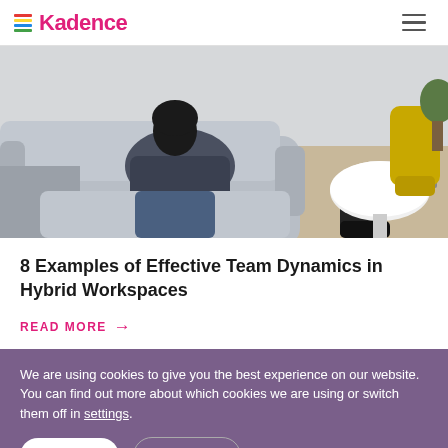≡Kadence
[Figure (photo): People sitting on a grey sofa in a modern office/lounge setting, having a meeting around a round white table. Yellow chairs visible in background.]
8 Examples of Effective Team Dynamics in Hybrid Workspaces
READ MORE →
We are using cookies to give you the best experience on our website.
You can find out more about which cookies we are using or switch them off in settings.
Accept | Settings